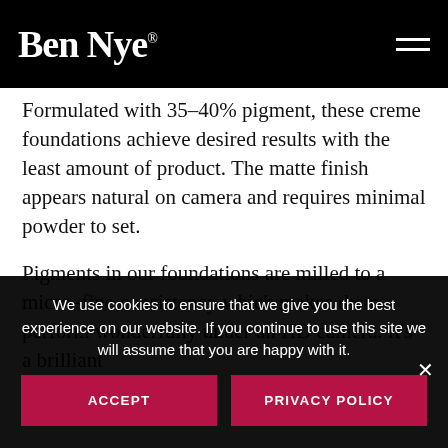Ben Nye®
Formulated with 35–40% pigment, these creme foundations achieve desired results with the least amount of product. The matte finish appears natural on camera and requires minimal powder to set.
Pigments in our foundations are milled to a micro–fine consistency which makes them perform wonderfully under an HD camera. It's a brilliant
We use cookies to ensure that we give you the best experience on our website. If you continue to use this site we will assume that you are happy with it.
ACCEPT
PRIVACY POLICY